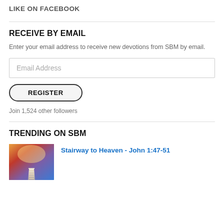LIKE ON FACEBOOK
RECEIVE BY EMAIL
Enter your email address to receive new devotions from SBM by email.
Email Address
REGISTER
Join 1,524 other followers
TRENDING ON SBM
[Figure (photo): Thumbnail image of a glowing stairway leading upward with colorful sky background]
Stairway to Heaven - John 1:47-51